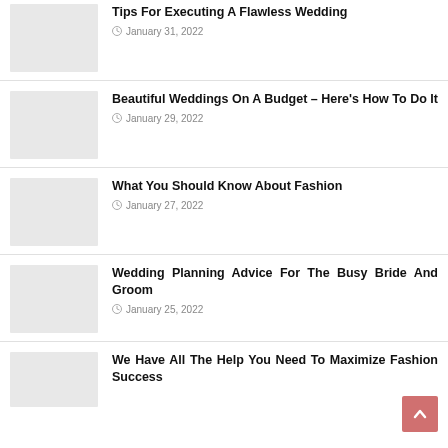Tips For Executing A Flawless Wedding
January 31, 2022
Beautiful Weddings On A Budget – Here's How To Do It
January 29, 2022
What You Should Know About Fashion
January 27, 2022
Wedding Planning Advice For The Busy Bride And Groom
January 25, 2022
We Have All The Help You Need To Maximize Fashion Success